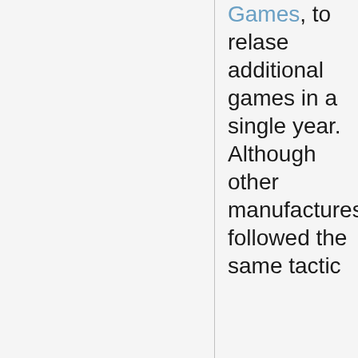Games, to relase additional games in a single year. Although other manufactures followed the same tactic